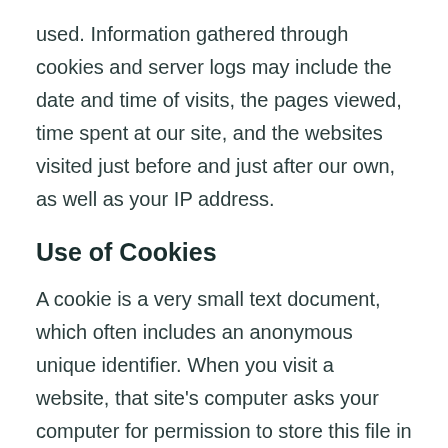used. Information gathered through cookies and server logs may include the date and time of visits, the pages viewed, time spent at our site, and the websites visited just before and just after our own, as well as your IP address.
Use of Cookies
A cookie is a very small text document, which often includes an anonymous unique identifier. When you visit a website, that site's computer asks your computer for permission to store this file in a part of your hard drive specifically designated for cookies. Each website can send